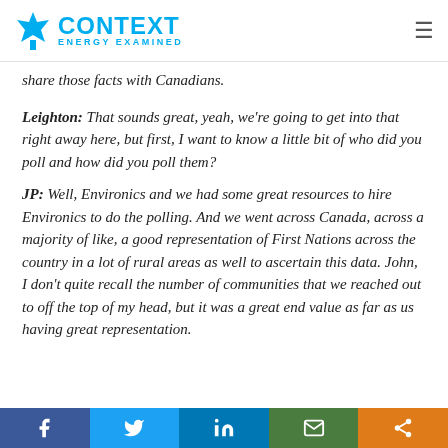Context Energy Examined
share those facts with Canadians.
Leighton: That sounds great, yeah, we're going to get into that right away here, but first, I want to know a little bit of who did you poll and how did you poll them?
JP: Well, Environics and we had some great resources to hire Environics to do the polling. And we went across Canada, across a majority of like, a good representation of First Nations across the country in a lot of rural areas as well to ascertain this data. John, I don't quite recall the number of communities that we reached out to off the top of my head, but it was a great end value as far as us having great representation.
Social share bar: Facebook, Twitter, LinkedIn, Email, Share